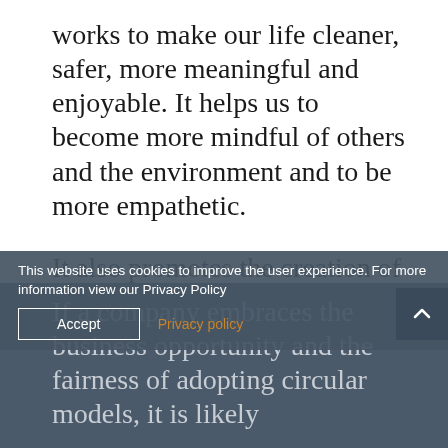works to make our life cleaner, safer, more meaningful and enjoyable. It helps us to become more mindful of others and the environment and to be more empathetic.
It also promotes the creation of green jobs that do not use hazardous substances that pollute the air, lands, and rivers, which ultimately safeguards workers and citizens' health.
This website uses cookies to improve the user experience. For more information view our Privacy Policy
If a company embraces the business opportunity and the fairness of adopting circular models, it is likely